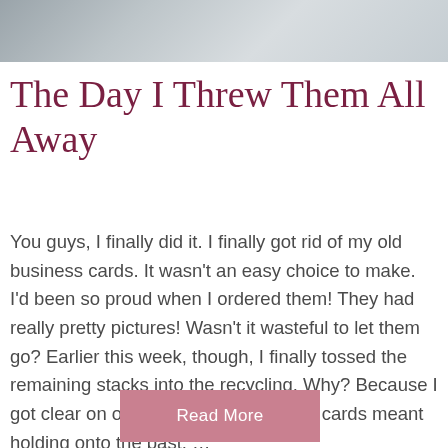[Figure (photo): Partial photograph of a person, cropped at the top of the page, showing upper body against a blurred background.]
The Day I Threw Them All Away
You guys, I finally did it. I finally got rid of my old business cards. It wasn't an easy choice to make. I'd been so proud when I ordered them! They had really pretty pictures! Wasn't it wasteful to let them go? Earlier this week, though, I finally tossed the remaining stacks into the recycling. Why? Because I got clear on one thing: Keeping those cards meant holding onto the past. …
Read More